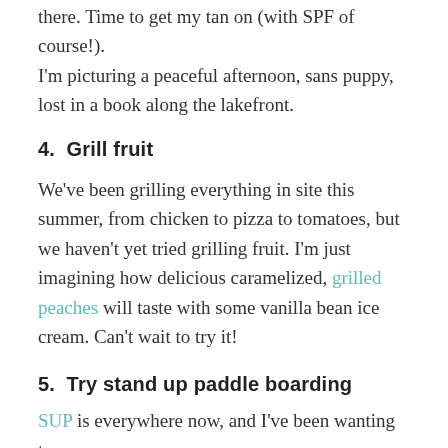there. Time to get my tan on (with SPF of course!). I'm picturing a peaceful afternoon, sans puppy, lost in a book along the lakefront.
4.  Grill fruit
We've been grilling everything in site this summer, from chicken to pizza to tomatoes, but we haven't yet tried grilling fruit. I'm just imagining how delicious caramelized, grilled peaches will taste with some vanilla bean ice cream. Can't wait to try it!
5.  Try stand up paddle boarding
SUP is everywhere now, and I've been wanting to